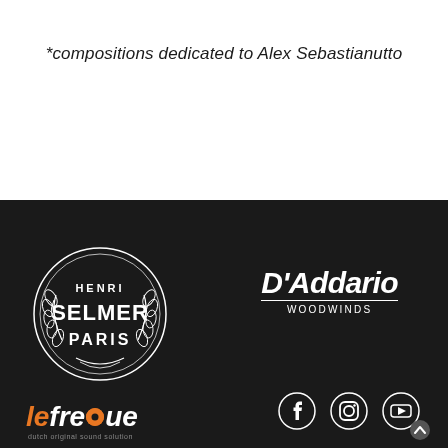*compositions dedicated to Alex Sebastianutto
[Figure (logo): Henri Selmer Paris circular logo with laurel wreath, white on dark background]
[Figure (logo): D'Addario Woodwinds logo in white italic text with horizontal rule]
[Figure (logo): LeFreque dutch original sound solution logo in orange and white]
[Figure (logo): Facebook circular icon in white]
[Figure (logo): Instagram square-rounded icon in white]
[Figure (logo): YouTube play button icon in white]